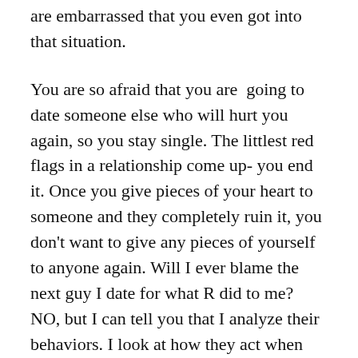are embarrassed that you even got into that situation.
You are so afraid that you are  going to date someone else who will hurt you again, so you stay single. The littlest red flags in a relationship come up- you end it. Once you give pieces of your heart to someone and they completely ruin it, you don't want to give any pieces of yourself to anyone again. Will I ever blame the next guy I date for what R did to me? NO, but I can tell you that I analyze their behaviors. I look at how they act when they are angry, how they treat strangers, how they treat their families. If they drink, if they do drugs, what goals they have set.